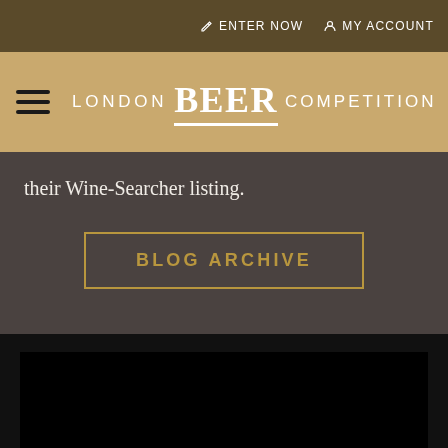✏ ENTER NOW  👤 MY ACCOUNT
[Figure (logo): London Beer Competition logo with hamburger menu icon. Gold/tan background with white text reading LONDON BEER COMPETITION.]
their Wine-Searcher listing.
BLOG ARCHIVE
[Figure (photo): Dark/black photographic image area at bottom of page, mostly black.]